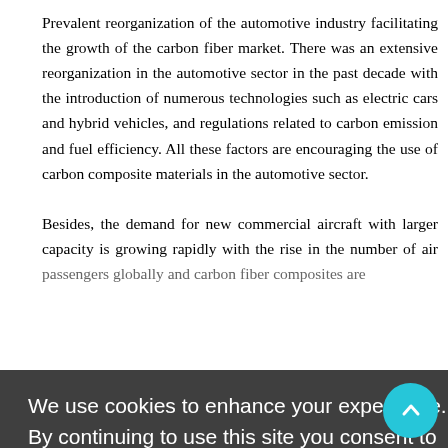Prevalent reorganization of the automotive industry facilitating the growth of the carbon fiber market. There was an extensive reorganization in the automotive sector in the past decade with the introduction of numerous technologies such as electric cars and hybrid vehicles, and regulations related to carbon emission and fuel efficiency. All these factors are encouraging the use of carbon composite materials in the automotive sector.
Besides, the demand for new commercial aircraft with larger capacity is growing rapidly with the rise in the number of air passengers globally and carbon fiber composites...
Challenges
Although carbon fiber has gained substantial share in several industries. However, its high cost when compared to metals restrict its penetration in small budget and cost sensitive industries are the major challenges for the growth of the carbon fiber market.